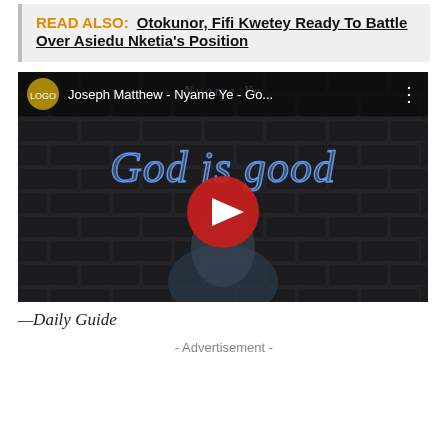READ ALSO: Otokunor, Fifi Kwetey Ready To Battle Over Asiedu Nketia's Position
[Figure (screenshot): YouTube video thumbnail for 'Joseph Matthew - Nyame Ye - Go...' showing a man in a blue hoodie with neon 'God is good' text on a dark brick background, with a red YouTube play button in the center.]
—Daily Guide
- Advertisement -